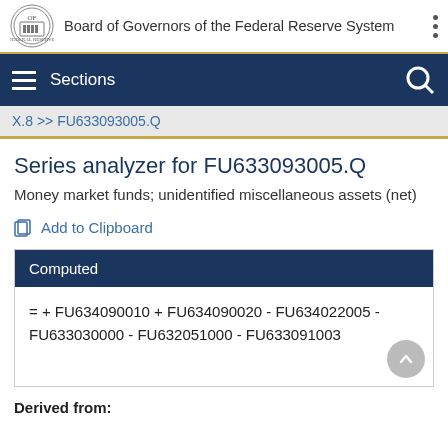Board of Governors of the Federal Reserve System
Sections
X.8 >> FU633093005.Q
Series analyzer for FU633093005.Q
Money market funds; unidentified miscellaneous assets (net)
Add to Clipboard
| Computed |
| --- |
| = + FU634090010 + FU634090020 - FU634022005 - FU633030000 - FU632051000 - FU633091003 |
Derived from: